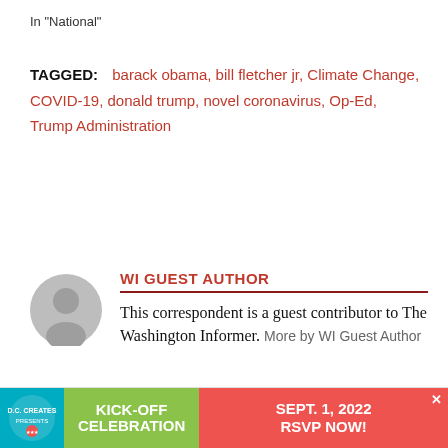In "National"
TAGGED: barack obama, bill fletcher jr, Climate Change, COVID-19, donald trump, novel coronavirus, Op-Ed, Trump Administration
[Figure (illustration): Gray circular avatar/profile placeholder icon]
WI GUEST AUTHOR
This correspondent is a guest contributor to The Washington Informer. More by WI Guest Author
Leave a comment
[Figure (infographic): Advertisement banner: KICK-OFF CELEBRATION SEPT. 1, 2022 RSVP NOW!]